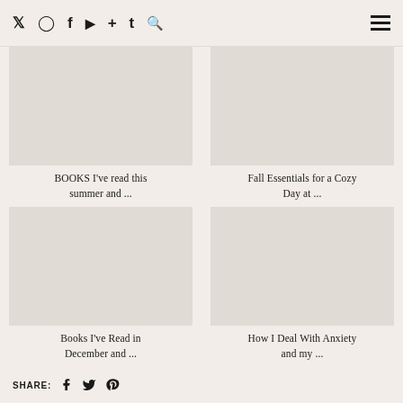Twitter Instagram Facebook YouTube + Tumblr Search | Menu
[Figure (other): Blank image placeholder for blog post card]
BOOKS I've read this summer and ...
[Figure (other): Blank image placeholder for blog post card]
Fall Essentials for a Cozy Day at ...
[Figure (other): Blank image placeholder for blog post card]
Books I've Read in December and ...
[Figure (other): Blank image placeholder for blog post card]
How I Deal With Anxiety and my ...
SHARE: Facebook Twitter Pinterest